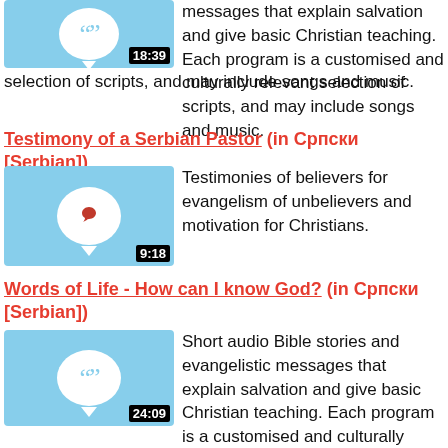[Figure (illustration): Thumbnail with blue background, speech bubble with quote marks icon, duration 18:39]
messages that explain salvation and give basic Christian teaching. Each program is a customised and culturally relevant selection of scripts, and may include songs and music.
Testimony of a Serbian Pastor (in Српски [Serbian])
[Figure (illustration): Thumbnail with blue background, heart icon in speech bubble, duration 9:18]
Testimonies of believers for evangelism of unbelievers and motivation for Christians.
Words of Life - How can I know God? (in Српски [Serbian])
[Figure (illustration): Thumbnail with blue background, speech bubble with quote marks icon, duration 24:09]
Short audio Bible stories and evangelistic messages that explain salvation and give basic Christian teaching. Each program is a customised and culturally relevant selection of scripts, and may include songs and music.
Дела Светога Духа [Look, Listen & Live 8 Acts of the HOLY SPIRIT] (in Српски [Serbian])
[Figure (illustration): Thumbnail with purple background, animated face character]
Book 8 of an audio-visual series with Bible